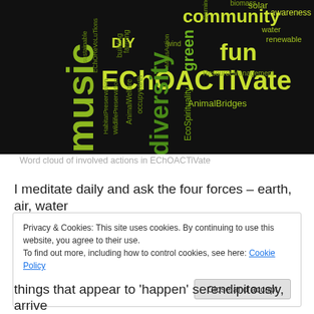[Figure (infographic): Word cloud on black background with ecology/environment related words in green and yellow-green. Prominent words: EChOACTiVate, biodiversity, community, fun, green, DIY, music, AnimalBridges, EcoSpirituality, renewable, solar, awareness, water, ResourceManagement, HabitatPreservation, WildlifePreservation, EChOReVoLuTions, sustainable, occupyearth, AnimalWelfare, building, farming, biomass, wind, MassAction]
Word cloud of involved actions in EChOACTiVate
I meditate daily and ask the four forces – earth, air, water
Privacy & Cookies: This site uses cookies. By continuing to use this website, you agree to their use.
To find out more, including how to control cookies, see here: Cookie Policy
things that appear to 'happen' serendipitously, arrive